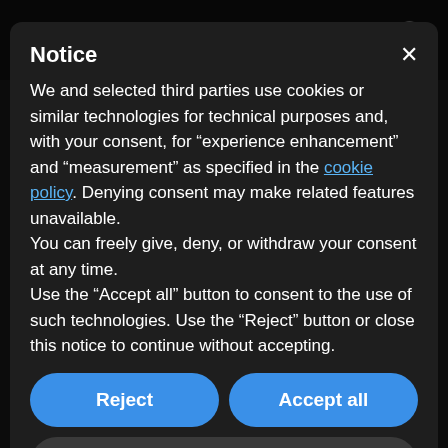[Figure (screenshot): Dark-themed website background showing the 'essencional:' logo, hamburger menu, search icon, and partially visible article text behind a cookie consent modal overlay.]
Notice
We and selected third parties use cookies or similar technologies for technical purposes and, with your consent, for “experience enhancement” and “measurement” as specified in the cookie policy. Denying consent may make related features unavailable.
You can freely give, deny, or withdraw your consent at any time.
Use the “Accept all” button to consent to the use of such technologies. Use the “Reject” button or close this notice to continue without accepting.
Reject
Accept all
Learn more and customize